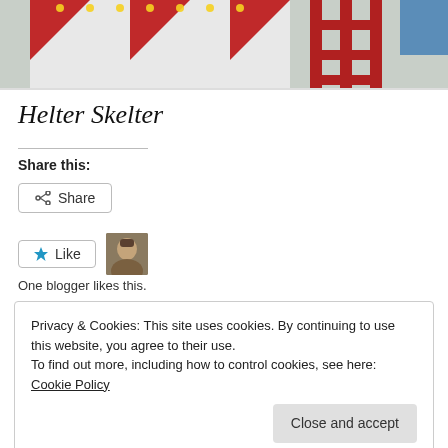[Figure (photo): Top portion of a helter skelter fairground ride with red and white striped structure and metal scaffolding stairs]
Helter Skelter
Share this:
[Figure (screenshot): Share button with share icon]
[Figure (screenshot): Like button with star icon and user thumbnail. One blogger likes this.]
One blogger likes this.
Privacy & Cookies: This site uses cookies. By continuing to use this website, you agree to their use.
To find out more, including how to control cookies, see here: Cookie Policy
Close and accept